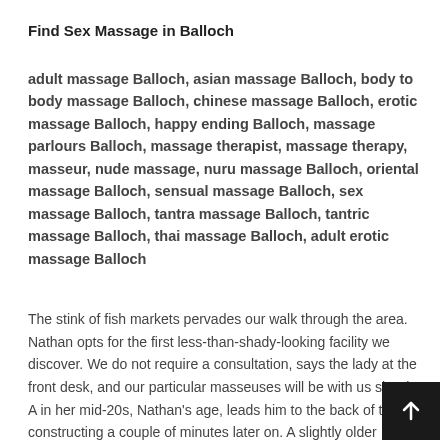Find Sex Massage in Balloch
adult massage Balloch, asian massage Balloch, body to body massage Balloch, chinese massage Balloch, erotic massage Balloch, happy ending Balloch, massage parlours Balloch, massage therapist, massage therapy, masseur, nude massage, nuru massage Balloch, oriental massage Balloch, sensual massage Balloch, sex massage Balloch, tantra massage Balloch, tantric massage Balloch, thai massage Balloch, adult erotic massage Balloch
The stink of fish markets pervades our walk through the area. Nathan opts for the first less-than-shady-looking facility we discover. We do not require a consultation, says the lady at the front desk, and our particular masseuses will be with us shortly. A in her mid-20s, Nathan's age, leads him to the back of the constructing a couple of minutes later on. A slightly older female